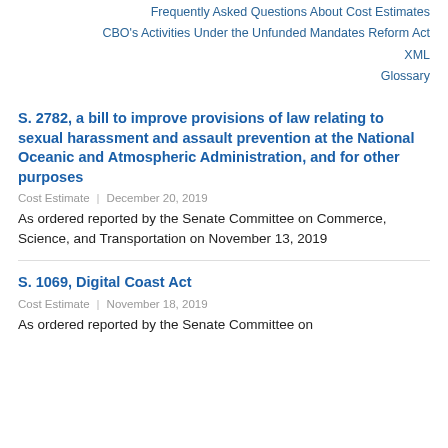Frequently Asked Questions About Cost Estimates
CBO's Activities Under the Unfunded Mandates Reform Act
XML
Glossary
S. 2782, a bill to improve provisions of law relating to sexual harassment and assault prevention at the National Oceanic and Atmospheric Administration, and for other purposes
Cost Estimate | December 20, 2019
As ordered reported by the Senate Committee on Commerce, Science, and Transportation on November 13, 2019
S. 1069, Digital Coast Act
Cost Estimate | November 18, 2019
As ordered reported by the Senate Committee on